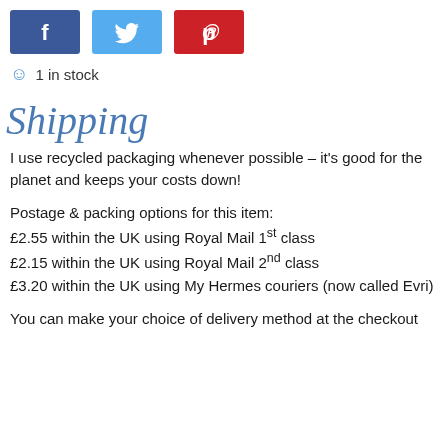[Figure (other): Three social media share buttons: Facebook (dark blue with f), Twitter (light blue with bird icon), Pinterest (red with P icon)]
1 in stock
Shipping
I use recycled packaging whenever possible – it's good for the planet and keeps your costs down!
Postage & packing options for this item:
£2.55 within the UK using Royal Mail 1st class
£2.15 within the UK using Royal Mail 2nd class
£3.20 within the UK using My Hermes couriers (now called Evri)
You can make your choice of delivery method at the checkout